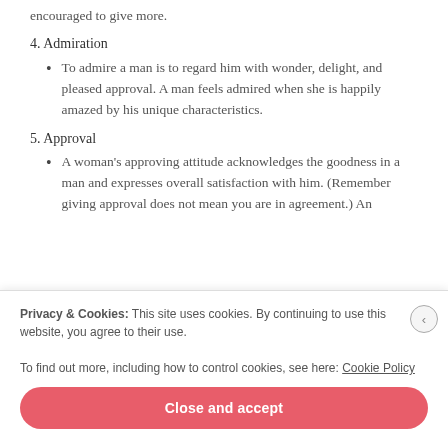encouraged to give more.
4. Admiration
To admire a man is to regard him with wonder, delight, and pleased approval. A man feels admired when she is happily amazed by his unique characteristics.
5. Approval
A woman's approving attitude acknowledges the goodness in a man and expresses overall satisfaction with him. (Remember giving approval does not mean you are in agreement.) An approving attitude recognizes or looks for the good…
Privacy & Cookies: This site uses cookies. By continuing to use this website, you agree to their use.
To find out more, including how to control cookies, see here: Cookie Policy
Close and accept